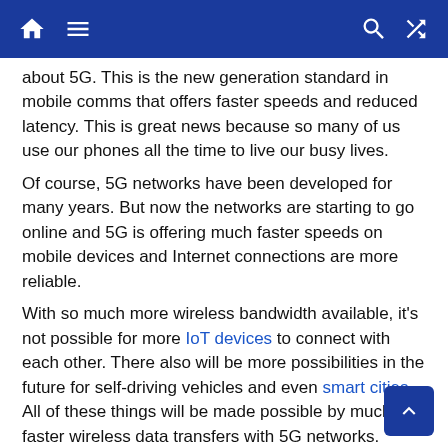Navigation bar with home, menu, search, and shuffle icons
about 5G. This is the new generation standard in mobile comms that offers faster speeds and reduced latency. This is great news because so many of us use our phones all the time to live our busy lives.
Of course, 5G networks have been developed for many years. But now the networks are starting to go online and 5G is offering much faster speeds on mobile devices and Internet connections are more reliable.
With so much more wireless bandwidth available, it's not possible for more IoT devices to connect with each other. There also will be more possibilities in the future for self-driving vehicles and even smart cities. All of these things will be made possible by much faster wireless data transfers with 5G networks.
Quantum computing is a type of computing that uses quantum principles including quantum entanglement and superposition. This intriguing trend in technology is also part of preventing the spread